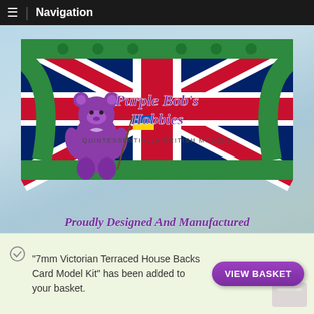Navigation
[Figure (illustration): Purple Bob's Hobbies banner: Union Jack background with decorative green ironwork border, purple teddy bear holding Ukrainian flag, text 'Purple Bob's Hobbies - Quintessentially British Models', followed by italic bold purple tagline 'Proudly Designed And Manufactured Solely In The United Kingdom']
"7mm Victorian Terraced House Backs Card Model Kit" has been added to your basket.